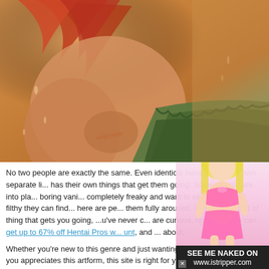[Figure (illustration): Anime/hentai style illustration showing a figure with red/auburn hair, warm brown skin tones with a tattoo visible, and green clothing/fabric in the background]
No two people are exactly the same. Even identical twins have their own separate li... has their own things that get them going. Some people are into pla... boring vani... completely freaky and want to see the kinkiest filthy they can find... here are pe... them fully aroused. If this is the kind of thing that gets you going, ...u've never c... are curious, right now you can get up to 67% off Hentai Pros w... unt, and ... about.
Whether you're new to this genre and just wanting to see what ...t, or if you appreciates this artform, this site is right for you. The glorious th...g... imation in its characters. They're all absolutely stunning and how we wis... k. Op... look at this site and then you'll fully be able to appreciate wh...